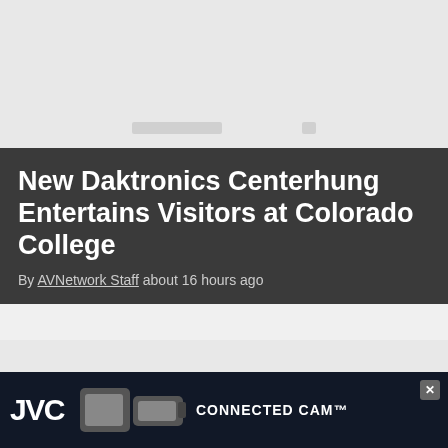[Figure (screenshot): Gray placeholder image area at top of page]
New Daktronics Centerhung Entertains Visitors at Colorado College
By AVNetwork Staff about 16 hours ago
[Figure (screenshot): Gray placeholder image area with AVNetwork watermark text]
EAW Upgrades the Aging PA System
[Figure (screenshot): JVC Connected Cam advertisement banner at bottom]